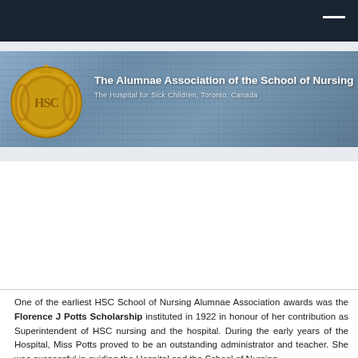[Figure (logo): Banner for The Alumnae Association of the School of Nursing, The Hospital for Sick Children, Toronto, Canada. Features a gold badge/crest on the left and bold white text on a blue-grey textured background.]
One of the earliest HSC School of Nursing Alumnae Association awards was the Florence J Potts Scholarship instituted in 1922 in honour of her contribution as Superintendent of HSC nursing and the hospital. During the early years of the Hospital, Miss Potts proved to be an outstanding administrator and teacher. She was successful in guiding the Hospital and the School of Nursing